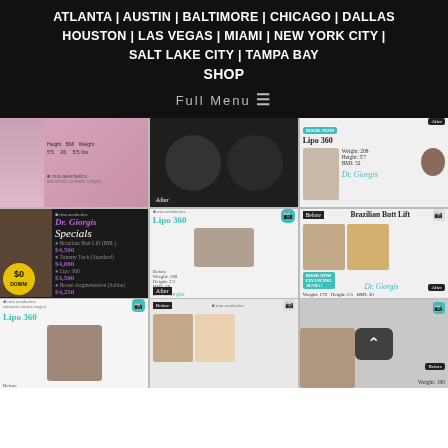ATLANTA | AUSTIN | BALTIMORE | CHICAGO | DALLAS | HOUSTON | LAS VEGAS | MIAMI | NEW YORK CITY | SALT LAKE CITY | TAMPA BAY
SHOP
Full Menu ☰
[Figure (photo): Grid of 9 medical/cosmetic surgery before-and-after photos and promotional panels for Mia Aesthetics featuring Dr. Giorgis. Includes Lipo 360 and Brazilian Butt Lift procedures with patient stats and pricing specials.]